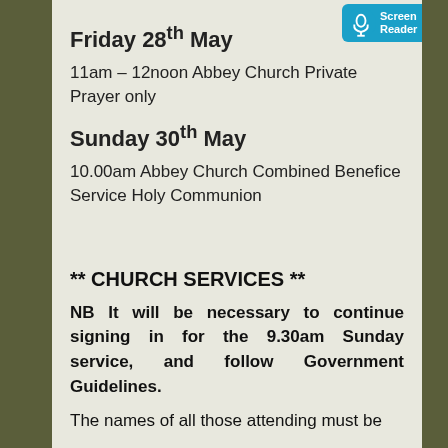Friday 28th May
11am – 12noon Abbey Church Private Prayer only
Sunday 30th May
10.00am Abbey Church Combined Benefice Service Holy Communion
** CHURCH SERVICES **
NB It will be necessary to continue signing in for the 9.30am Sunday service, and follow Government Guidelines.
The names of all those attending must be